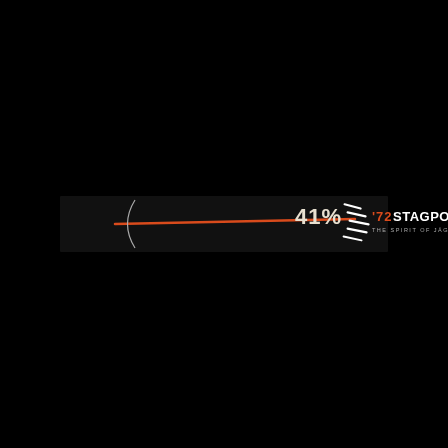[Figure (logo): '72 STAGPOWER logo with orange needle/speed line and white slanted lines suggesting motion, subtitle 'THE SPIRIT OF JÄGERMEISTER RACING', with '41%' text to the right, all on a black background]